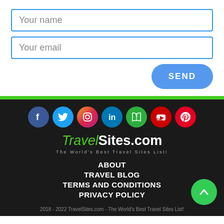[Figure (other): Form with 'Your name' and 'Your email' input fields and a SEND button]
[Figure (infographic): Social media icons row: Facebook, Twitter, Instagram, LinkedIn, a book/news icon, YouTube, Pinterest]
[Figure (logo): TravelSites.com logo with tagline 'The World's Best Travel Sites List!']
ABOUT
TRAVEL BLOG
TERMS AND CONDITIONS
PRIVACY POLICY
2018 - 2022 TravelSites.com - The World's Best Travel Sites List!